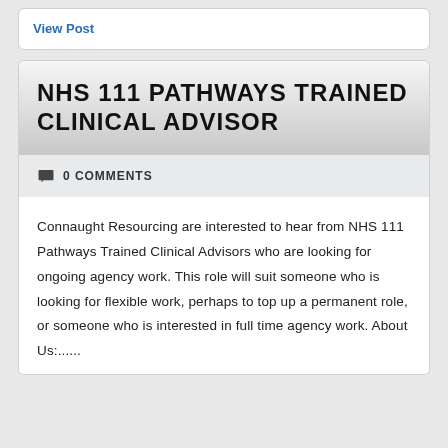View Post
NHS 111 PATHWAYS TRAINED CLINICAL ADVISOR
0 COMMENTS
Connaught Resourcing are interested to hear from NHS 111 Pathways Trained Clinical Advisors who are looking for ongoing agency work. This role will suit someone who is looking for flexible work, perhaps to top up a permanent role, or someone who is interested in full time agency work. About Us:......